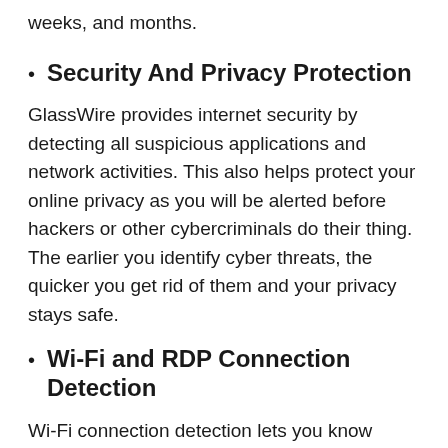weeks, and months.
Security And Privacy Protection
GlassWire provides internet security by detecting all suspicious applications and network activities. This also helps protect your online privacy as you will be alerted before hackers or other cybercriminals do their thing.  The earlier you identify cyber threats, the quicker you get rid of them and your privacy stays safe.
Wi-Fi and RDP Connection Detection
Wi-Fi connection detection lets you know who’s on your Wi-Fi and what they are doing. You also view when they joined/leave and you can dismiss whoever